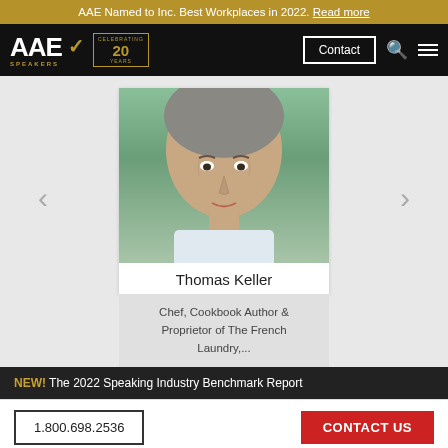AAE Named to Inc. Best Workplaces in 2022. Read more
[Figure (logo): AAE Speakers logo with 'Celebrating 20 Years' badge, Contact button, search and menu icons on black navigation bar]
[Figure (photo): Headshot photo of Thomas Keller, a middle-aged man with graying hair wearing a light-colored shirt, with green foliage background]
Thomas Keller
Chef, Cookbook Author & Proprietor of The French Laundry,...
NEW! The 2022 Speaking Industry Benchmark Report
1.800.698.2536   CONTACT US